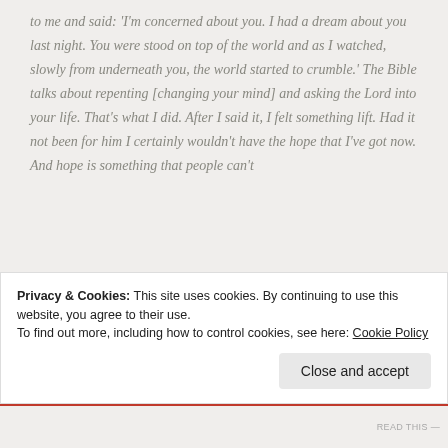to me and said: 'I'm concerned about you. I had a dream about you last night. You were stood on top of the world and as I watched, slowly from underneath you, the world started to crumble.' The Bible talks about repenting [changing your mind] and asking the Lord into your life. That's what I did. After I said it, I felt something lift. Had it not been for him I certainly wouldn't have the hope that I've got now. And hope is something that people can't
Privacy & Cookies: This site uses cookies. By continuing to use this website, you agree to their use.
To find out more, including how to control cookies, see here: Cookie Policy
Close and accept